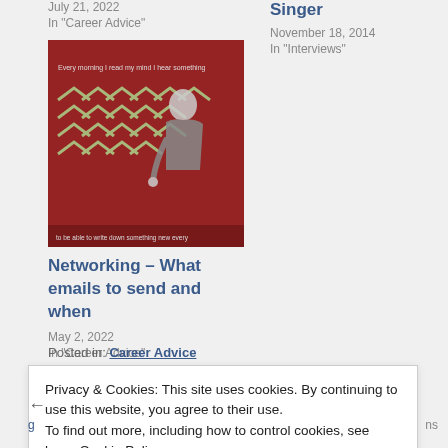July 21, 2022
In "Career Advice"
Singer
November 18, 2014
In "Interviews"
[Figure (illustration): Decorative image with red background and chevron patterns with a figure writing]
Networking – What emails to send and when
May 2, 2022
In "Career Advice"
Posted in: Career Advice
Privacy & Cookies: This site uses cookies. By continuing to use this website, you agree to their use.
To find out more, including how to control cookies, see here: Cookie Policy
Close and accept